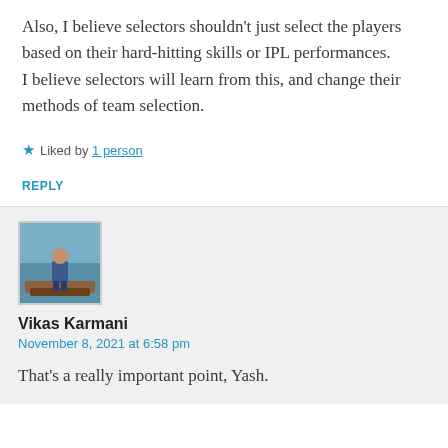Also, I believe selectors shouldn't just select the players based on their hard-hitting skills or IPL performances.
I believe selectors will learn from this, and change their methods of team selection.
★ Liked by 1 person
REPLY
[Figure (photo): Avatar photo of Vikas Karmani — a person sitting on a wooden boat near water]
Vikas Karmani
November 8, 2021 at 6:58 pm
That's a really important point, Yash.